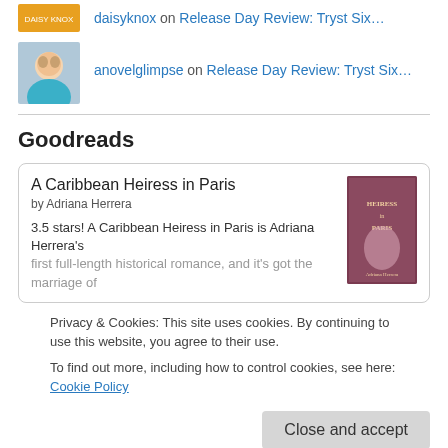daisyknox on Release Day Review: Tryst Six…
anovelglimpse on Release Day Review: Tryst Six…
Goodreads
A Caribbean Heiress in Paris
by Adriana Herrera
3.5 stars! A Caribbean Heiress in Paris is Adriana Herrera's first full-length historical romance, and it's got the marriage of
Privacy & Cookies: This site uses cookies. By continuing to use this website, you agree to their use.
To find out more, including how to control cookies, see here: Cookie Policy
Close and accept
writing... was not good. It was choppy and the characters were